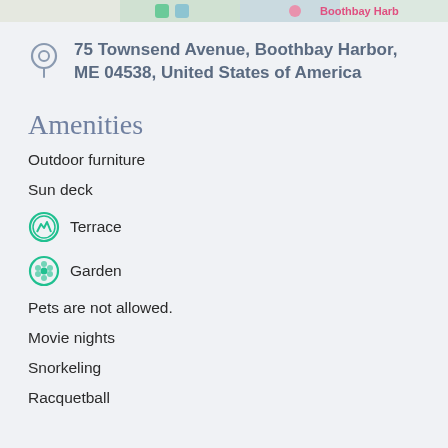[Figure (screenshot): Partial map strip at top of page showing Boothbay Harb label in pink/red]
75 Townsend Avenue, Boothbay Harbor, ME 04538, United States of America
Amenities
Outdoor furniture
Sun deck
Terrace
Garden
Pets are not allowed.
Movie nights
Snorkeling
Racquetball